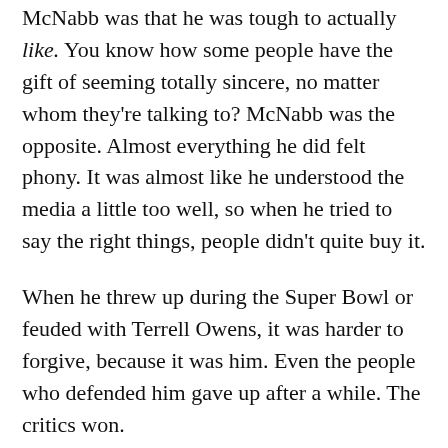McNabb was that he was tough to actually like. You know how some people have the gift of seeming totally sincere, no matter whom they're talking to? McNabb was the opposite. Almost everything he did felt phony. It was almost like he understood the media a little too well, so when he tried to say the right things, people didn't quite buy it.
When he threw up during the Super Bowl or feuded with Terrell Owens, it was harder to forgive, because it was him. Even the people who defended him gave up after a while. The critics won.
In contrast, Michael Vick set his career on fire and funded a fucking dogfighting ring, and to this day, there are people all over the world who will still defend him. Because people loved Vick. Nobody loved McNabb. He was never a bad guy, but he never seemed like a good guy, either.